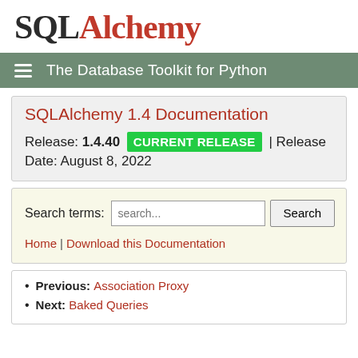[Figure (logo): SQLAlchemy logo with SQL in dark/black serif font and Alchemy in red serif font]
The Database Toolkit for Python
SQLAlchemy 1.4 Documentation
Release: 1.4.40 CURRENT RELEASE | Release Date: August 8, 2022
Search terms: search... Search
Home | Download this Documentation
Previous: Association Proxy
Next: Baked Queries